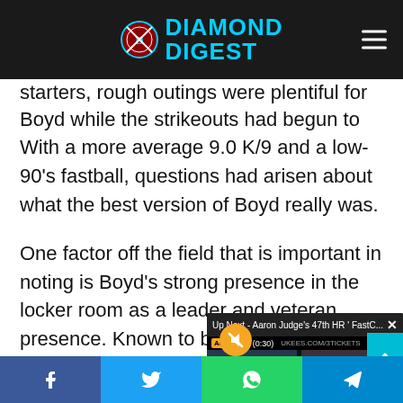Diamond Digest
starters, rough outings were plentiful for Boyd while the strikeouts had begun to shri—
With a more average 9.0 K/9 and a low-90's fastball, questions had arisen about what the best version of Boyd really was.

One factor off the field that is important in noting is Boyd's strong presence in the locker room as a leader and veteran presence. Known to be one of the m— all of baseball and— organization, he is— representative. For— to be along the T—
[Figure (screenshot): Video player overlay showing 'Up Next - Aaron Judge's 47th HR FastC...' with baseball game footage and ad label 'Ad 1 of 1 (0:30)']
Facebook | Twitter | WhatsApp | Telegram social share bar